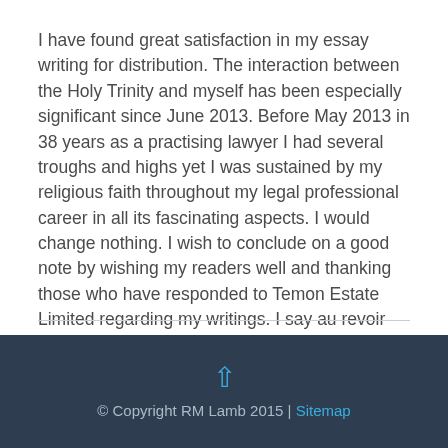I have found great satisfaction in my essay writing for distribution. The interaction between the Holy Trinity and myself has been especially significant since June 2013. Before May 2013 in 38 years as a practising lawyer I had several troughs and highs yet I was sustained by my religious faith throughout my legal professional career in all its fascinating aspects. I would change nothing. I wish to conclude on a good note by wishing my readers well and thanking those who have responded to Temon Estate Limited regarding my writings. I say au revoir and until we meet again
© Copyright RM Lamb 2015 | Sitemap